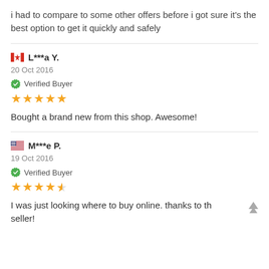i had to compare to some other offers before i got sure it's the best option to get it quickly and safely
L***a Y.
20 Oct 2016
Verified Buyer
★★★★★
Bought a brand new from this shop. Awesome!
M***e P.
19 Oct 2016
Verified Buyer
★★★★½
I was just looking where to buy online. thanks to the seller!